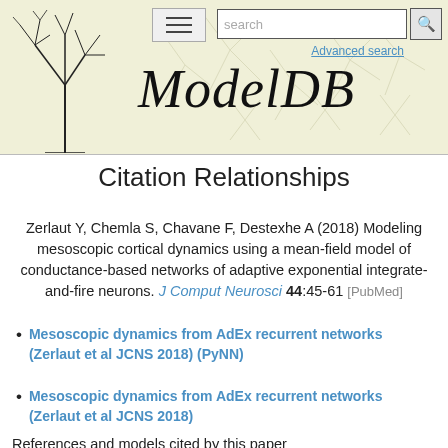[Figure (logo): ModelDB website header with logo (stylized neuron tree), italic ModelDB title, search box, Advanced search link, and hamburger menu icon]
Citation Relationships
Zerlaut Y, Chemla S, Chavane F, Destexhe A (2018) Modeling mesoscopic cortical dynamics using a mean-field model of conductance-based networks of adaptive exponential integrate-and-fire neurons. J Comput Neurosci 44:45-61 [PubMed]
Mesoscopic dynamics from AdEx recurrent networks (Zerlaut et al JCNS 2018) (PyNN)
Mesoscopic dynamics from AdEx recurrent networks (Zerlaut et al JCNS 2018)
References and models cited by this paper